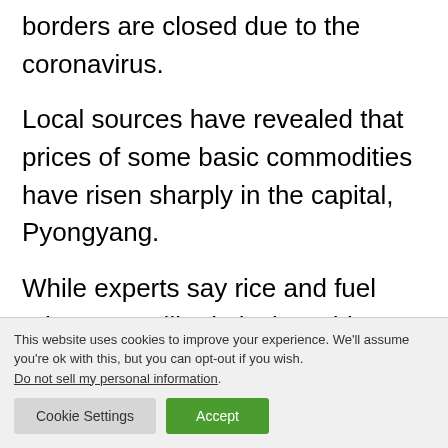borders are closed due to the coronavirus.
Local sources have revealed that prices of some basic commodities have risen sharply in the capital, Pyongyang.
While experts say rice and fuel prices are still relatively stable, prices of imported goods such as sugar, soybean oil and flour have
This website uses cookies to improve your experience. We'll assume you're ok with this, but you can opt-out if you wish.
Do not sell my personal information.